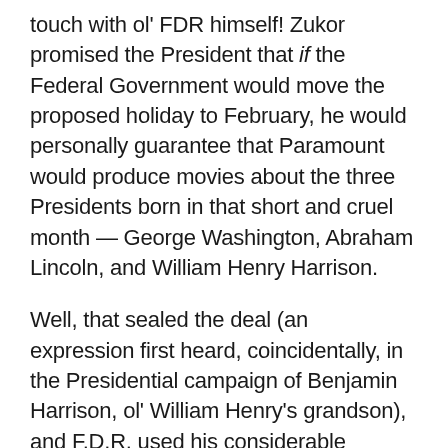touch with ol' FDR himself!  Zukor promised the President that if the Federal Government would move the proposed holiday to February, he would personally guarantee that Paramount would produce movies about the three Presidents born in that short and cruel month — George Washington, Abraham Lincoln, and William Henry Harrison.

Well, that sealed the deal (an expression first heard, coincidentally, in the Presidential campaign of Benjamin Harrison, ol' William Henry's grandson), and F.D.R. used his considerable powers to push through the February date for the new Presidents Day Holiday!  But the korfuffle over the new holiday wasn't